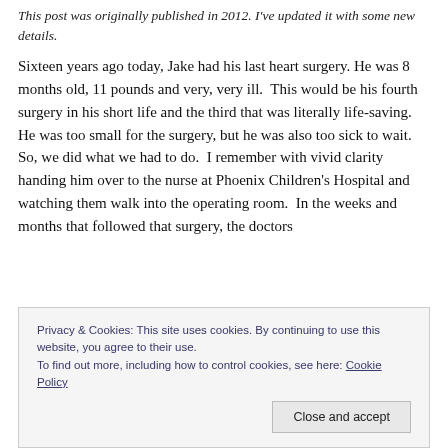This post was originally published in 2012. I've updated it with some new details.
Sixteen years ago today, Jake had his last heart surgery. He was 8 months old, 11 pounds and very, very ill. This would be his fourth surgery in his short life and the third that was literally life-saving. He was too small for the surgery, but he was also too sick to wait. So, we did what we had to do. I remember with vivid clarity handing him over to the nurse at Phoenix Children's Hospital and watching them walk into the operating room. In the weeks and months that followed that surgery, the doctors
Privacy & Cookies: This site uses cookies. By continuing to use this website, you agree to their use.
To find out more, including how to control cookies, see here: Cookie Policy
Close and accept